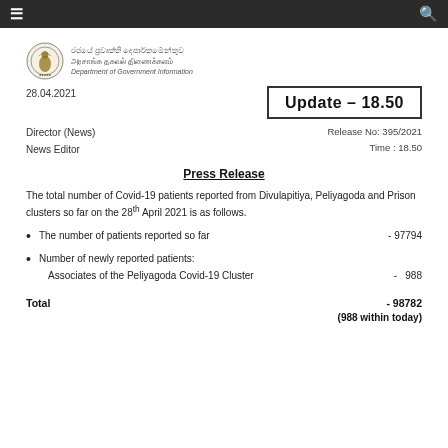Department of Government Information – navigation bar
[Figure (logo): Sri Lanka Department of Government Information official seal/logo with Sinhala and Tamil text and English subtitle]
28.04.2021
Update – 18.50
Director (News)
News Editor
Release No: 395/2021
Time: 18.50
Press Release
The total number of Covid-19 patients reported from Divulapitiya, Peliyagoda and Prison clusters so far on the 28th April 2021 is as follows.
The number of patients reported so far  - 97794
Number of newly reported patients:
  Associates of the Peliyagoda Covid-19 Cluster  - 988
Total  - 98782
(988 within today)